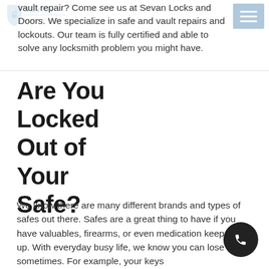[Figure (logo): Sevan Locks and Doors shield logo watermark, light blue, with text SEVAN and LOCKS & DOORS]
vault repair? Come see us at Sevan Locks and Doors. We specialize in safe and vault repairs and lockouts. Our team is fully certified and able to solve any locksmith problem you might have.
Are You Locked Out of Your Safe?
We know there are many different brands and types of safes out there. Safes are a great thing to have if you have valuables, firearms, or even medication keep put up. With everyday busy life, we know you can lose things sometimes. For example, your keys